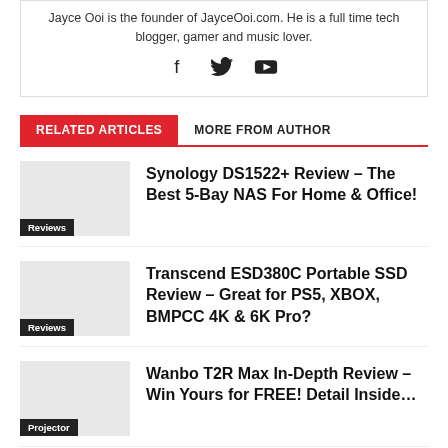Jayce Ooi is the founder of JayceOoi.com. He is a full time tech blogger, gamer and music lover.
[Figure (illustration): Social media icons: Facebook, Twitter, YouTube]
RELATED ARTICLES
MORE FROM AUTHOR
[Figure (photo): Thumbnail image for Synology DS1522+ review article]
Synology DS1522+ Review – The Best 5-Bay NAS For Home & Office!
[Figure (photo): Thumbnail image for Transcend ESD380C Portable SSD review article]
Transcend ESD380C Portable SSD Review – Great for PS5, XBOX, BMPCC 4K & 6K Pro?
[Figure (photo): Thumbnail image for Wanbo T2R Max review article]
Wanbo T2R Max In-Depth Review – Win Yours for FREE! Detail Inside…